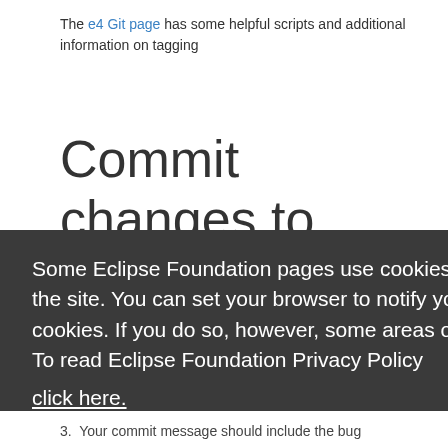The e4 Git page has some helpful scripts and additional information on tagging
Commit changes to
Some Eclipse Foundation pages use cookies to better serve you when you return to the site. You can set your browser to notify you before you receive a cookie or turn off cookies. If you do so, however, some areas of some sites may not function properly. To read Eclipse Foundation Privacy Policy click here.
3.  Your commit message should include the bug